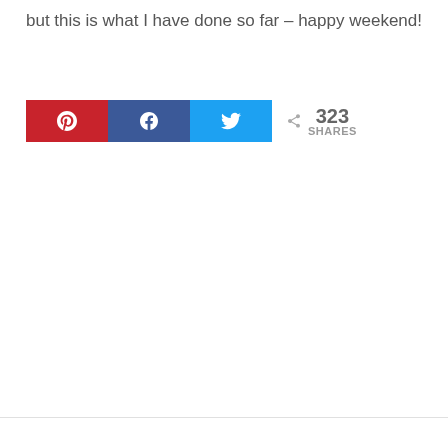but this is what I have done so far – happy weekend!
[Figure (infographic): Social share buttons: Pinterest (red), Facebook (dark blue), Twitter (light blue), with share count showing 323 SHARES]
323 SHARES